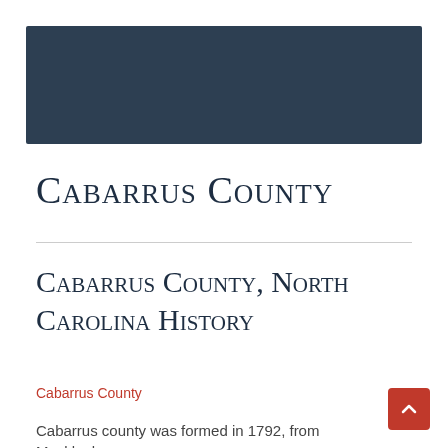[Figure (other): Dark navy blue rectangular header banner image area]
Cabarrus County
Cabarrus County, North Carolina History
Cabarrus County
Cabarrus county was formed in 1792, from Mecklenburg